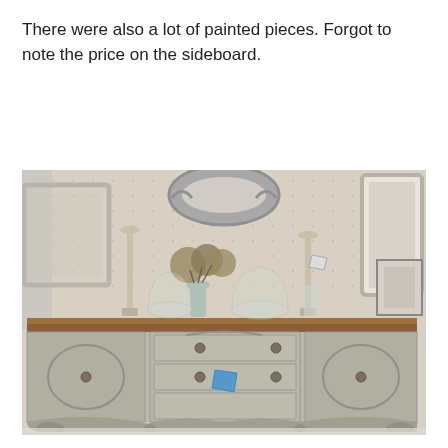There were also a lot of painted pieces. Forgot to note the price on the sideboard.
[Figure (photo): A painted antique sideboard/buffet in gray with a warm brown wood top, displayed in a shop setting. The sideboard has ornate carved panel details and vintage hardware. On top sit candlesticks, a vase with dried flowers, glass cloches, and decorative items. Behind it hangs a pegboard wall with several framed mirrors. A blue price tag is visible on one of the drawers.]